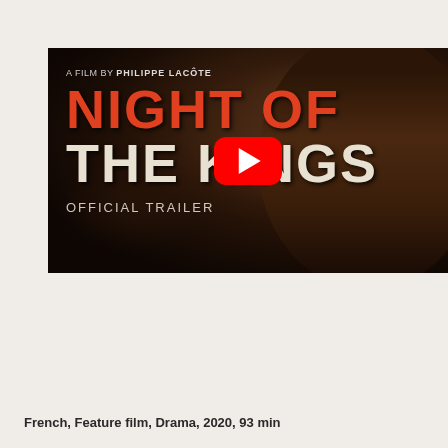[Figure (screenshot): YouTube video thumbnail for 'Night of the Kings' official trailer. Film by Philippe Lacote. Shows title text in orange/red and white on dark cinematic background with a person visible on the right side. A red YouTube play button is centered on the image.]
French, Feature film, Drama, 2020, 93 min